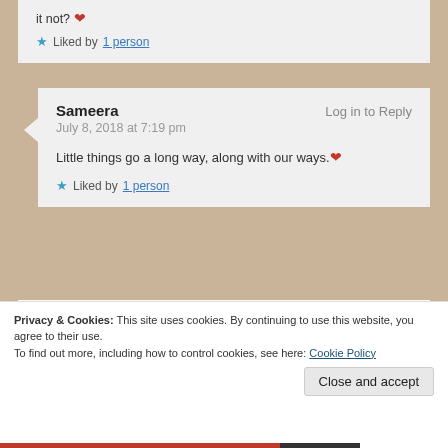it not? ❤
★ Liked by 1 person
Sameera    Log in to Reply
July 8, 2018 at 7:19 pm

Little things go a long way, along with our ways.❤

★ Liked by 1 person
Neha Sharma    Log in to Reply
Privacy & Cookies: This site uses cookies. By continuing to use this website, you agree to their use.
To find out more, including how to control cookies, see here: Cookie Policy